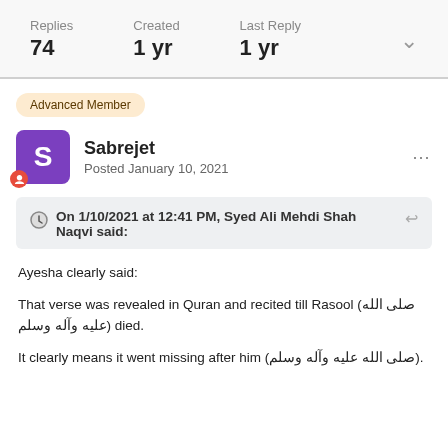Replies: 74
Created: 1 yr
Last Reply: 1 yr
Advanced Member
Sabrejet
Posted January 10, 2021
On 1/10/2021 at 12:41 PM, Syed Ali Mehdi Shah Naqvi said:
Ayesha clearly said:

That verse was revealed in Quran and recited till Rasool (صلى الله عليه وآله وسلم) died.

It clearly means it went missing after him (صلى الله عليه وآله وسلم).